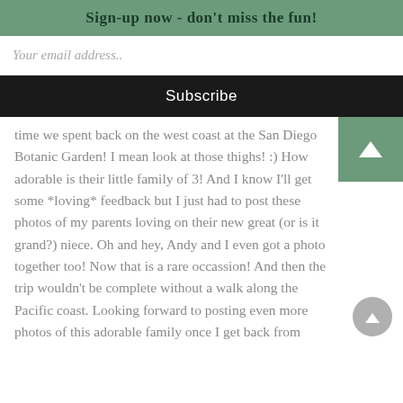Sign-up now - don't miss the fun!
Your email address..
Subscribe
time we spent back on the west coast at the San Diego Botanic Garden! I mean look at those thighs! :) How adorable is their little family of 3! And I know I'll get some *loving* feedback but I just had to post these photos of my parents loving on their new great (or is it grand?) niece. Oh and hey, Andy and I even got a photo together too! Now that is a rare occassion! And then the trip wouldn't be complete without a walk along the Pacific coast. Looking forward to posting even more photos of this adorable family once I get back from